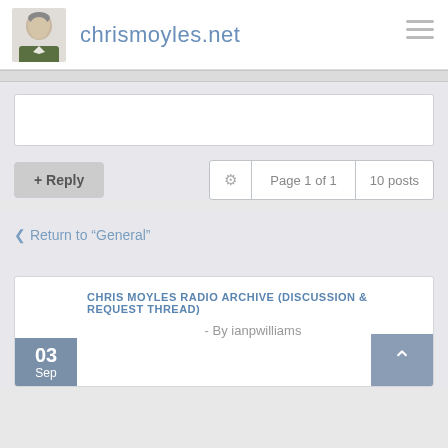chrismoyles.net
+ Reply
Page 1 of 1   10 posts
< Return to "General"
CHRIS MOYLES RADIO ARCHIVE (DISCUSSION & REQUEST THREAD)
- By ianpwilliams
03 Sep